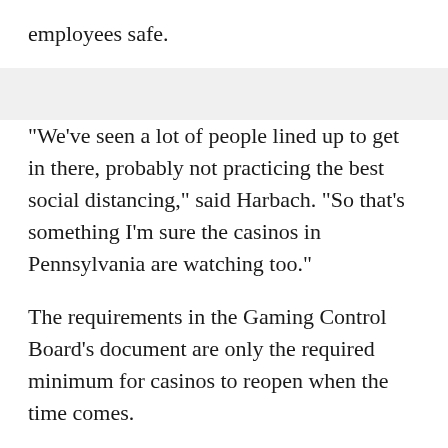employees safe.
"We've seen a lot of people lined up to get in there, probably not practicing the best social distancing," said Harbach. "So that's something I'm sure the casinos in Pennsylvania are watching too."
The requirements in the Gaming Control Board's document are only the required minimum for casinos to reopen when the time comes.
Casinos are encouraged to put additional customized procedures in place, based on their layouts.
In a statement to KDKA, Rivers Casino said: